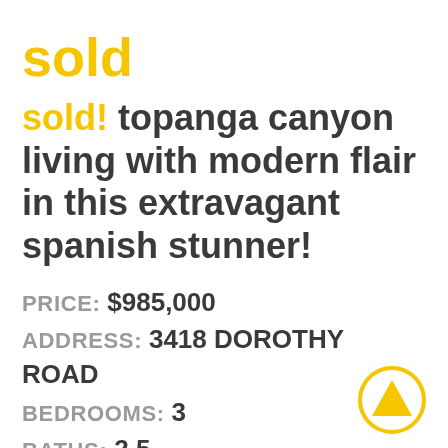sold
sold! topanga canyon living with modern flair in this extravagant spanish stunner!
PRICE: $985,000
ADDRESS: 3418 DOROTHY ROAD
BEDROOMS: 3
BATHS: 2.5
SQ FT: 2,212
LOT SIZE: 0.26 ACRES
[Figure (illustration): Gold circle with upward-pointing triangle arrow icon]